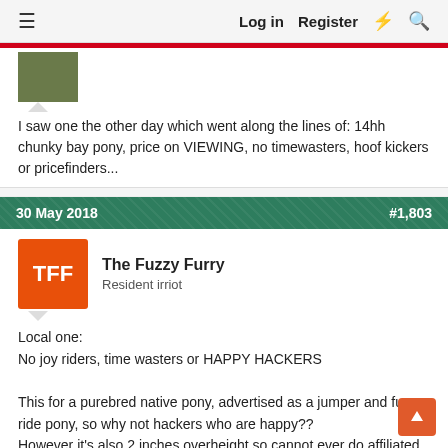Log in  Register
[Figure (photo): Small thumbnail photo of a horse or outdoor scene, partially visible]
I saw one the other day which went along the lines of: 14hh chunky bay pony, price on VIEWING, no timewasters, hoof kickers or pricefinders...
30 May 2018   #1,803
[Figure (illustration): Orange square avatar with white letters TFF]
The Fuzzy Furry
Resident irriot
Local one:
No joy riders, time wasters or HAPPY HACKERS

This for a purebred native pony, advertised as a jumper and fun ride pony, so why not hackers who are happy??
However it's also 2 inches overheight so cannot ever do affiliated showing, so ought to be cheaper and in line with other animals of same height. Price has come down a grand since adverts earlier in